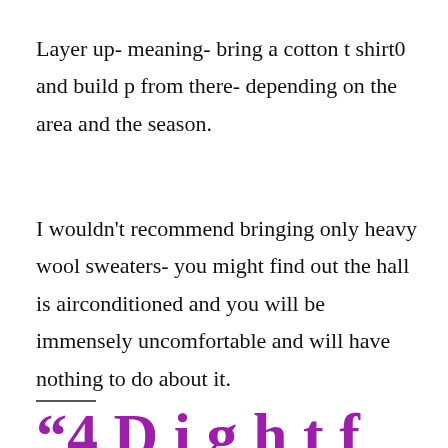Layer up- meaning- bring a cotton t shirt0 and build p from there- depending on the area and the season.
I wouldn't recommend bringing only heavy wool sweaters- you might find out the hall is airconditioned and you will be immensely uncomfortable and will have nothing to do about it.
"4 D i g h t f